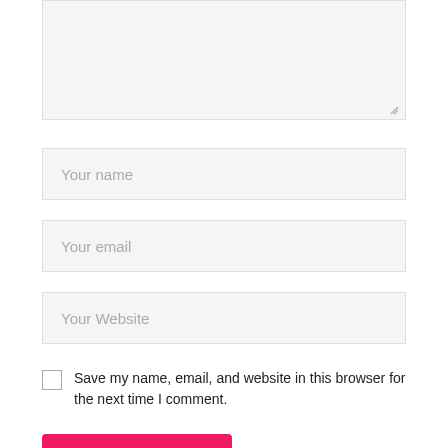[Figure (screenshot): Comment form textarea (empty, light gray background with resize handle)]
Your name
Your email
Your Website
Save my name, email, and website in this browser for the next time I comment.
Post Comment
You Might Also Like
Internet: After all, how are we covering